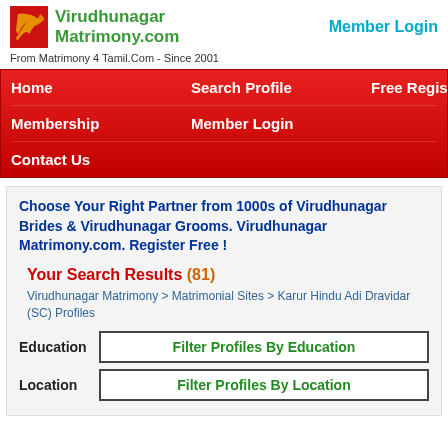[Figure (logo): Virudhunagar Matrimony.com logo with red icon and green text]
Member Login
From Matrimony 4 Tamil.Com - Since 2001
Home
Search Profile
Free Register
Membership
Member Login
Contact Us
Choose Your Right Partner from 1000s of Virudhunagar Brides & Virudhunagar Grooms. Virudhunagar Matrimony.com. Register Free !
Your Search Results (81)
Virudhunagar Matrimony > Matrimonial Sites > Karur Hindu Adi Dravidar (SC) Profiles
Education   Filter Profiles By Education
Location   Filter Profiles By Location